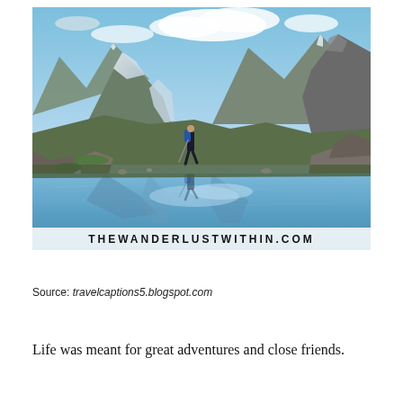[Figure (photo): A hiker with a blue backpack and trekking pole stands on rocky terrain beside a reflective alpine lake. Snow-capped mountains and a glacier are visible in the background under a partly cloudy sky. The text 'THEWANDERLUSTWITHIN.COM' is overlaid at the bottom of the image.]
Source: travelcaptions5.blogspot.com
Life was meant for great adventures and close friends.